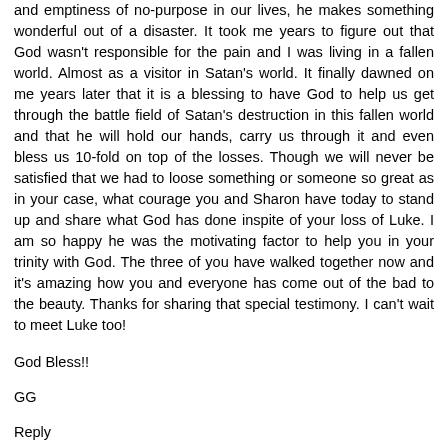and emptiness of no-purpose in our lives, he makes something wonderful out of a disaster. It took me years to figure out that God wasn't responsible for the pain and I was living in a fallen world. Almost as a visitor in Satan's world. It finally dawned on me years later that it is a blessing to have God to help us get through the battle field of Satan's destruction in this fallen world and that he will hold our hands, carry us through it and even bless us 10-fold on top of the losses. Though we will never be satisfied that we had to loose something or someone so great as in your case, what courage you and Sharon have today to stand up and share what God has done inspite of your loss of Luke. I am so happy he was the motivating factor to help you in your trinity with God. The three of you have walked together now and it's amazing how you and everyone has come out of the bad to the beauty. Thanks for sharing that special testimony. I can't wait to meet Luke too!
God Bless!!
GG
Reply